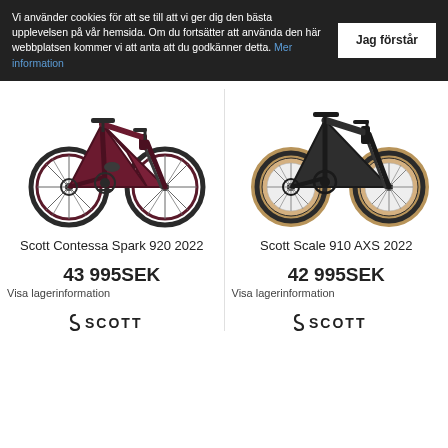Vi använder cookies för att se till att vi ger dig den bästa upplevelsen på vår hemsida. Om du fortsätter att använda den här webbplatsen kommer vi att anta att du godkänner detta. Mer information
Jag förstår
[Figure (photo): Scott Contessa Spark 920 2022 mountain bike in dark red/maroon color, full suspension, shown from the side]
[Figure (photo): Scott Scale 910 AXS 2022 mountain bike in dark gray/black color with tan/brown tires, hardtail, shown from the side]
Scott Contessa Spark 920 2022
43 995SEK
Visa lagerinformation
Scott Scale 910 AXS 2022
42 995SEK
Visa lagerinformation
[Figure (logo): Scott brand logo - stylized S with SCOTT text, black]
[Figure (logo): Scott brand logo - stylized S with SCOTT text, black]